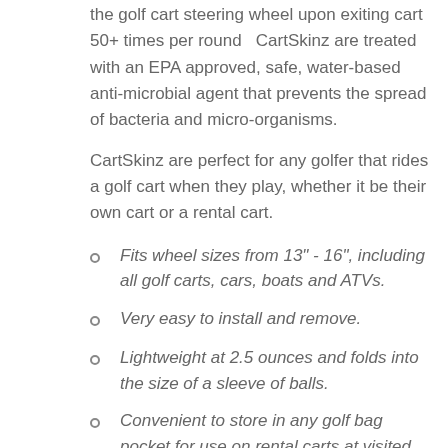the golf cart steering wheel upon exiting cart 50+ times per round  CartSkinz are treated with an EPA approved, safe, water-based anti-microbial agent that prevents the spread of bacteria and micro-organisms.
CartSkinz are perfect for any golfer that rides a golf cart when they play, whether it be their own cart or a rental cart.
Fits wheel sizes from 13" - 16", including all golf carts, cars, boats and ATVs.
Very easy to install and remove.
Lightweight at 2.5 ounces and folds into the size of a sleeve of balls.
Convenient to store in any golf bag pocket for use on rental carts at visited courses.
Made with auto industry materials